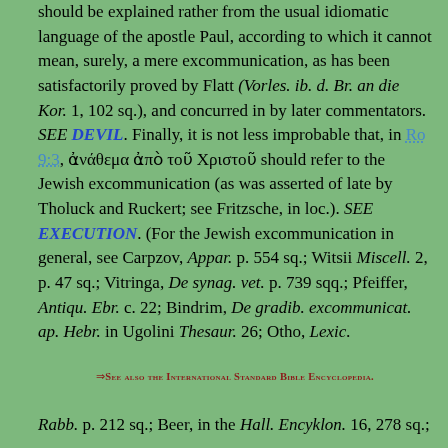should be explained rather from the usual idiomatic language of the apostle Paul, according to which it cannot mean, surely, a mere excommunication, as has been satisfactorily proved by Flatt (Vorles. ib. d. Br. an die Kor. 1, 102 sq.), and concurred in by later commentators. SEE DEVIL. Finally, it is not less improbable that, in Ro 9:3, ἀνάθεμα ἀπὸ τοῦ Χριστοῦ should refer to the Jewish excommunication (as was asserted of late by Tholuck and Ruckert; see Fritzsche, in loc.). SEE EXECUTION. (For the Jewish excommunication in general, see Carpzov, Appar. p. 554 sq.; Witsii Miscell. 2, p. 47 sq.; Vitringa, De synag. vet. p. 739 sqq.; Pfeiffer, Antiqu. Ebr. c. 22; Bindrim, De gradib. excommunicat. ap. Hebr. in Ugolini Thesaur. 26; Otho, Lexic.
⇒See also the International Standard Bible Encyclopedia.
Rabb. p. 212 sq.; Beer, in the Hall. Encyklon. 16, 278 sq.;